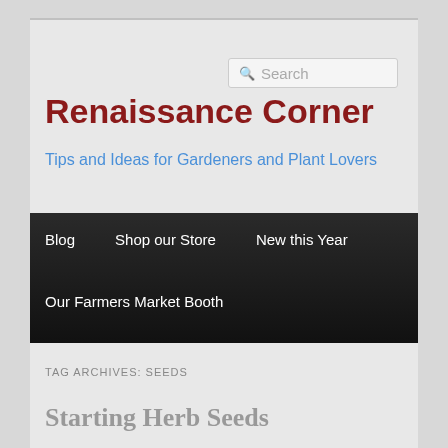Renaissance Corner
Tips and Ideas for Gardeners and Plant Lovers
Blog  Shop our Store  New this Year  Our Farmers Market Booth
TAG ARCHIVES: SEEDS
Starting Herb Seeds
Posted on May 6, 2014 by GreenThumbsBelle